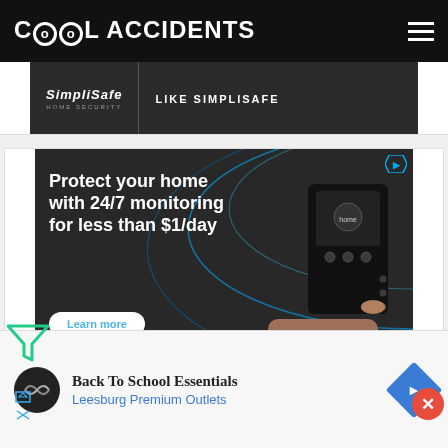Cool Accidents
[Figure (screenshot): SimpliSafe HOME SECURITY | LIKE SIMPLISAFE advertisement banner (dark background, partial view)]
[Figure (screenshot): SimpliSafe advertisement: 'Protect your home with 24/7 monitoring for less than $1/day' with Learn more button, hand pressing keypad, and THERE'S NO SAFE tagline]
[Figure (screenshot): Back To School Essentials - Leesburg Premium Outlets advertisement card with circular logo, blue text and navigation diamond icon]